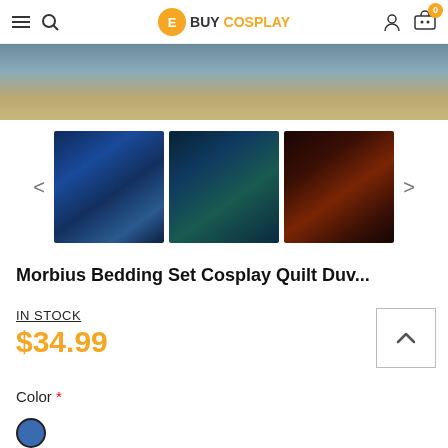BUY COSPLAY — navigation header with hamburger menu, search, logo, user icon, and cart (0)
[Figure (photo): Top portion of a Morbius bedding set product image showing a bedroom floor with wooden planks and edges of a dark blue Morbius themed comforter]
[Figure (photo): Three thumbnail product images of Morbius Bedding Sets: first shows a blue/dark Morbius movie poster design on a bed, second shows a close-up face design on a bed, third shows an orange/dark fire design on a bed]
Morbius Bedding Set Cosplay Quilt Duv...
IN STOCK
$34.99
Color *